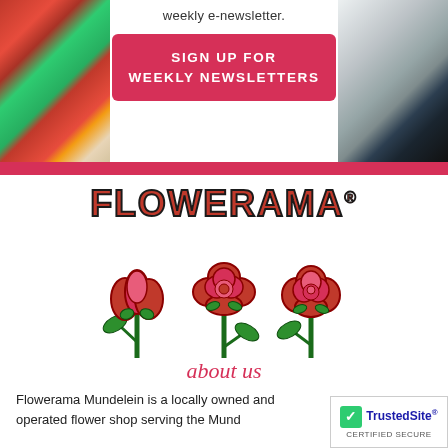weekly e-newsletter.
SIGN UP FOR WEEKLY NEWSLETTERS
[Figure (logo): Flowerama logo with bold red uppercase text 'FLOWERAMA.' and three red roses illustration below]
about us
Flowerama Mundelein is a locally owned and operated flower shop serving the Mundelein...
[Figure (logo): TrustedSite CERTIFIED SECURE badge in bottom right corner]